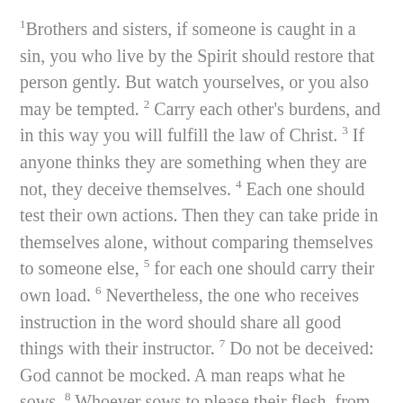1Brothers and sisters, if someone is caught in a sin, you who live by the Spirit should restore that person gently. But watch yourselves, or you also may be tempted. 2 Carry each other's burdens, and in this way you will fulfill the law of Christ. 3 If anyone thinks they are something when they are not, they deceive themselves. 4 Each one should test their own actions. Then they can take pride in themselves alone, without comparing themselves to someone else, 5 for each one should carry their own load. 6 Nevertheless, the one who receives instruction in the word should share all good things with their instructor. 7 Do not be deceived: God cannot be mocked. A man reaps what he sows. 8 Whoever sows to please their flesh, from the flesh will reap destruction; whoever sows to please the Spirit, from the Spirit will reap eternal life. 9 Let us not become weary in doing good, for at the proper time we will reap a harvest if we do not give up. 10 Therefore, as we have opportunity, let us do good to all